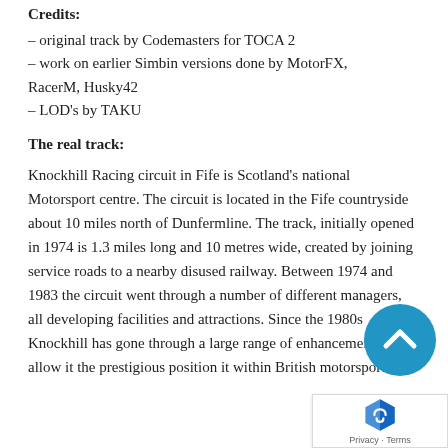Credits:
– original track by Codemasters for TOCA 2
– work on earlier Simbin versions done by MotorFX, RacerM, Husky42
– LOD's by TAKU
The real track:
Knockhill Racing circuit in Fife is Scotland's national Motorsport centre. The circuit is located in the Fife countryside about 10 miles north of Dunfermline. The track, initially opened in 1974 is 1.3 miles long and 10 metres wide, created by joining service roads to a nearby disused railway. Between 1974 and 1983 the circuit went through a number of different managers, all developing facilities and attractions. Since the 1980s Knockhill has gone through a large range of enhancements to allow it the prestigious position it within British motorsport.